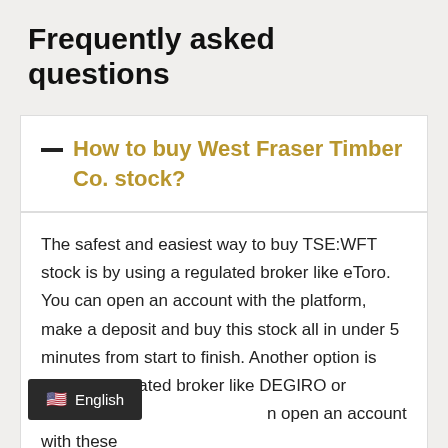Frequently asked questions
— How to buy West Fraser Timber Co. stock?
The safest and easiest way to buy TSE:WFT stock is by using a regulated broker like eToro. You can open an account with the platform, make a deposit and buy this stock all in under 5 minutes from start to finish. Another option is using a regulated broker like DEGIRO or Interactive Brokers. You can open an account with these